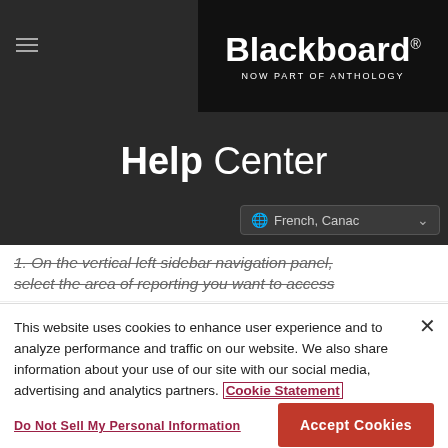Blackboard NOW PART OF ANTHOLOGY
Help Center
French, Canada (language selector)
1. On the vertical left sidebar navigation panel, select the area of reporting you want to access
This website uses cookies to enhance user experience and to analyze performance and traffic on our website. We also share information about your use of our site with our social media, advertising and analytics partners. Cookie Statement
Do Not Sell My Personal Information
Accept Cookies